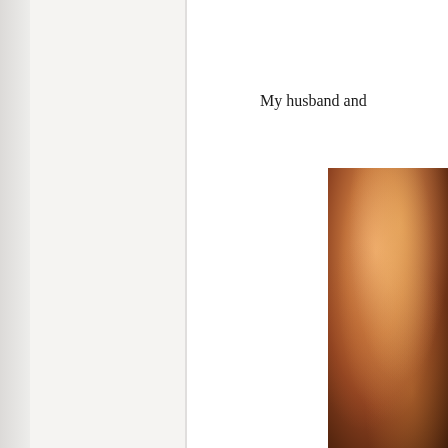My husband and
[Figure (photo): A warm-toned photograph showing two people, cropped at the right edge of the page, with golden-brown and amber tones suggesting an outdoor or warmly lit setting.]